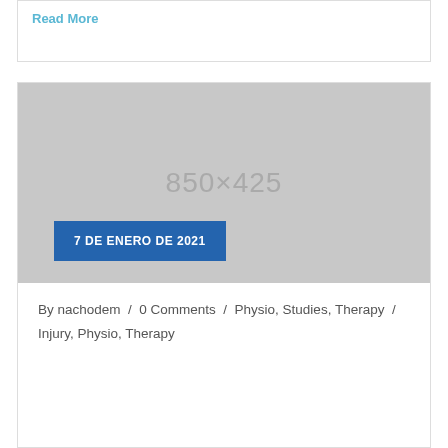Read More
[Figure (photo): Placeholder image 850x425 with date badge '7 DE ENERO DE 2021']
By nachodem / 0 Comments / Physio, Studies, Therapy / Injury, Physio, Therapy